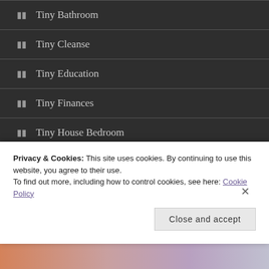Tiny Bathroom
Tiny Cleanse
Tiny Education
Tiny Finances
Tiny House Bedroom
Tiny House Decor
Tiny House Shows
Privacy & Cookies: This site uses cookies. By continuing to use this website, you agree to their use.
To find out more, including how to control cookies, see here: Cookie Policy
Close and accept